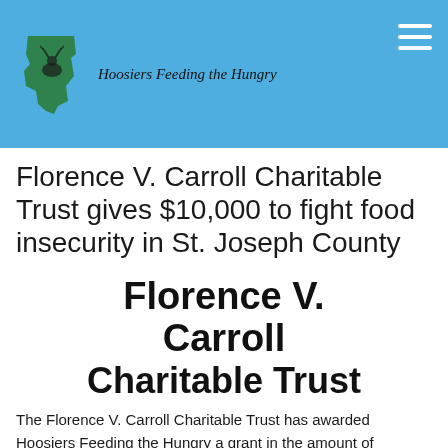Hoosiers Feeding the Hungry
Florence V. Carroll Charitable Trust gives $10,000 to fight food insecurity in St. Joseph County
[Figure (illustration): Florence V. Carroll Charitable Trust text logo in large bold black font, centered]
The Florence V. Carroll Charitable Trust has awarded Hoosiers Feeding the Hungry a grant in the amount of $10,000. These funds will help to pay processing fees on donated livestock and deer with the most being given to